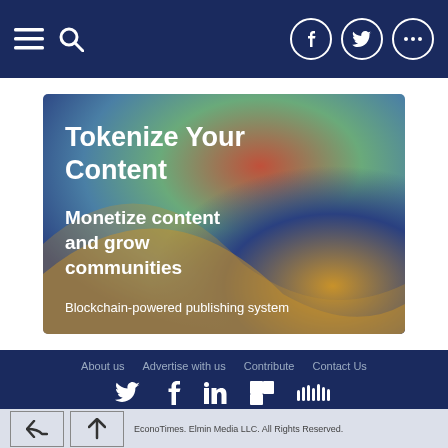EconoTimes navigation bar with hamburger menu, search icon, and social icons (Facebook, Twitter, more)
[Figure (illustration): Advertisement banner with colorful gradient background (teal, green, red, blue, gold). Text reads: 'Tokenize Your Content - Monetize content and grow communities - Blockchain-powered publishing system']
About us  Advertise with us  Contribute  Contact Us | social icons: Twitter, Facebook, LinkedIn, Flipboard, SoundCloud | ©Elmin Media 2022. All Rights Reserved.
EconoTimes. Elmin Media LLC. All Rights Reserved.